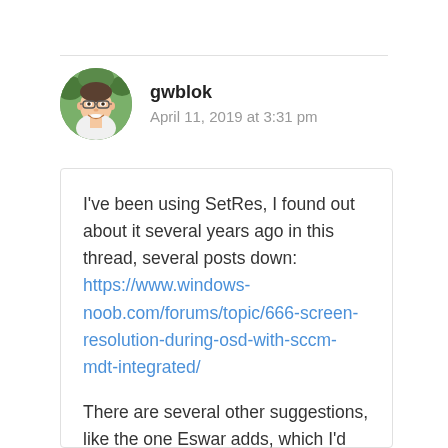[Figure (photo): Circular avatar photo of a smiling man wearing glasses, with green foliage background]
gwblok
April 11, 2019 at 3:31 pm
I've been using SetRes, I found out about it several years ago in this thread, several posts down: https://www.windows-noob.com/forums/topic/666-screen-resolution-during-osd-with-sccm-mdt-integrated/
There are several other suggestions, like the one Eswar adds, which I'd like to try, just haven't gotten